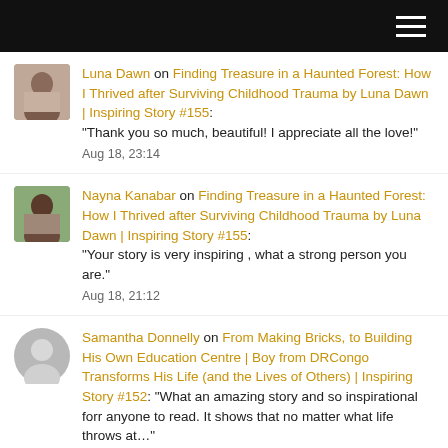[Navigation bar with hamburger menu]
Luna Dawn on Finding Treasure in a Haunted Forest: How I Thrived after Surviving Childhood Trauma by Luna Dawn | Inspiring Story #155: "Thank you so much, beautiful! I appreciate all the love!" Aug 18, 23:14
Nayna Kanabar on Finding Treasure in a Haunted Forest: How I Thrived after Surviving Childhood Trauma by Luna Dawn | Inspiring Story #155: "Your story is very inspiring , what a strong person you are." Aug 18, 21:12
Samantha Donnelly on From Making Bricks, to Building His Own Education Centre | Boy from DRCongo Transforms His Life (and the Lives of Others) | Inspiring Story #152: "What an amazing story and so inspirational forr anyone to read. It shows that no matter what life throws at…" Aug 18, 14:13